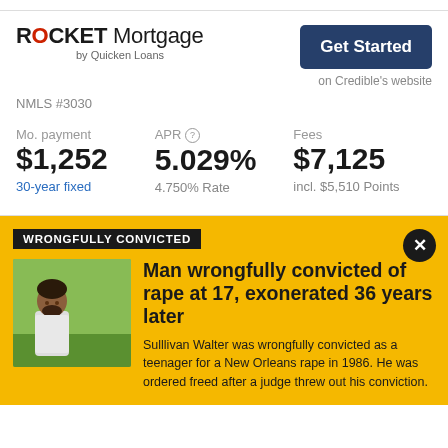[Figure (logo): Rocket Mortgage by Quicken Loans logo]
NMLS #3030
Get Started
on Credible's website
Mo. payment
$1,252
30-year fixed
APR
5.029%
4.750% Rate
Fees
$7,125
incl. $5,510 Points
WRONGFULLY CONVICTED
[Figure (photo): Photo of a man standing outdoors near a tree]
Man wrongfully convicted of rape at 17, exonerated 36 years later
Sulllivan Walter was wrongfully convicted as a teenager for a New Orleans rape in 1986. He was ordered freed after a judge threw out his conviction.